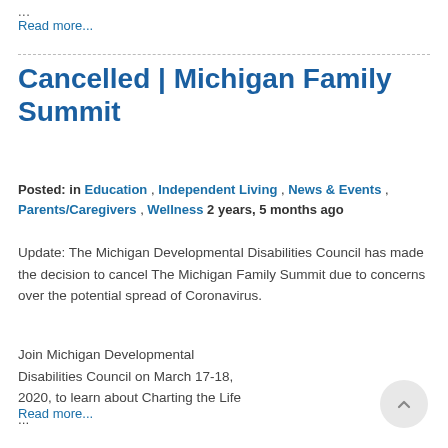...
Read more...
Cancelled | Michigan Family Summit
Posted: in Education , Independent Living , News & Events , Parents/Caregivers , Wellness 2 years, 5 months ago
Update: The Michigan Developmental Disabilities Council has made the decision to cancel The Michigan Family Summit due to concerns over the potential spread of Coronavirus.
Join Michigan Developmental Disabilities Council on March 17-18, 2020, to learn about Charting the Life ...
Read more...